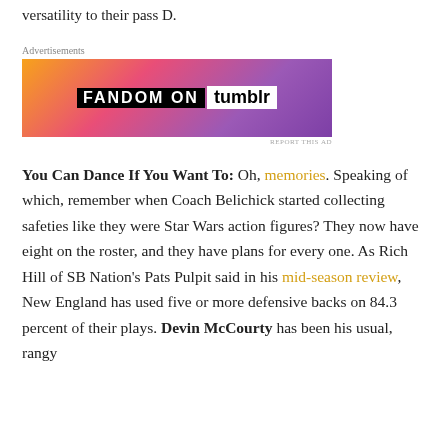versatility to their pass D.
[Figure (other): Fandom on Tumblr advertisement banner with colorful gradient background]
You Can Dance If You Want To: Oh, memories. Speaking of which, remember when Coach Belichick started collecting safeties like they were Star Wars action figures? They now have eight on the roster, and they have plans for every one. As Rich Hill of SB Nation's Pats Pulpit said in his mid-season review, New England has used five or more defensive backs on 84.3 percent of their plays. Devin McCourty has been his usual, rangy